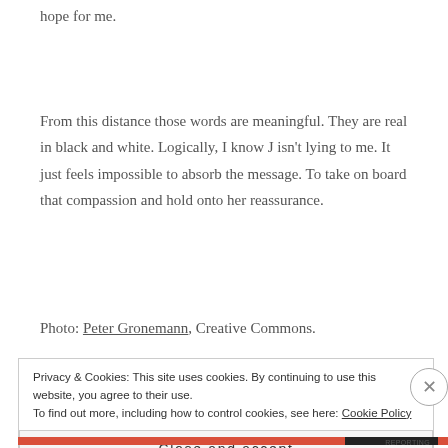hope for me.
From this distance those words are meaningful. They are real in black and white. Logically, I know J isn't lying to me. It just feels impossible to absorb the message. To take on board that compassion and hold onto her reassurance.
Photo: Peter Gronemann, Creative Commons.
Privacy & Cookies: This site uses cookies. By continuing to use this website, you agree to their use.
To find out more, including how to control cookies, see here: Cookie Policy
Close and accept